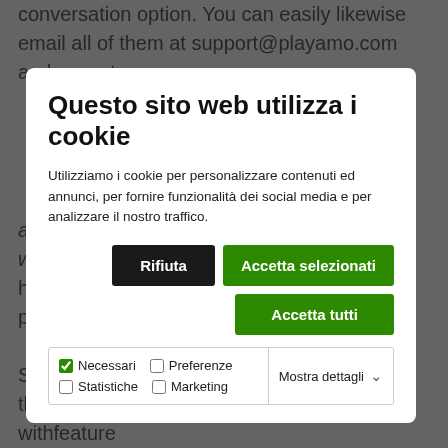conversation option. You can easily likewise email all of them at support@playamo.com and expect a
[Figure (screenshot): Cookie consent modal dialog overlay on a webpage. Title: 'Questo sito web utilizza i cookie'. Body text: 'Utilizziamo i cookie per personalizzare contenuti ed annunci, per fornire funzionalità dei social media e per analizzare il nostro traffico.' Buttons: 'Rifiuta' (black), 'Accetta selezionati' (green), 'Accetta tutti' (green). Checkboxes for Necessari (checked), Preferenze, Statistiche, Marketing. Dropdown 'Mostra dettagli'.]
are actually searching for a casino activity without home side, you possess the alternative to participate in texas hold'em. Some of the best software program carriers that PlayAmo has actually partnered along withfeature